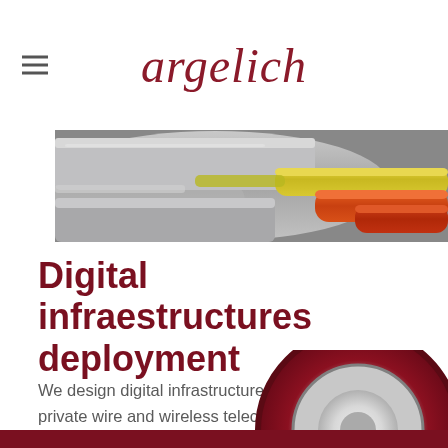argelich
[Figure (photo): Close-up photo of fiber optic cables including grey, yellow, and orange cables bundled together]
Digital infraestructures deployment
We design digital infrastructures like public and private wire and wireless telecom networks, data centers, etc. We lead projects deployment and provide quality assurance services.
[Figure (photo): Partial view of a red cable reel or spool at the bottom of the page]